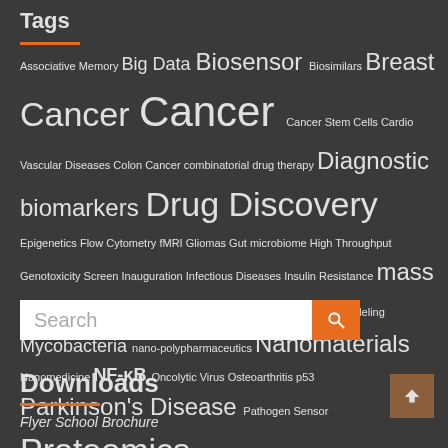Tags
Associative Memory Big Data Biosensor Biosimilars Breast Cancer Cancer Cancer Stem Cells Cardio Vascular Diseases Colon Cancer combinatorial drug therapy Diagnostic biomarkers Drug Discovery Epigenetics Flow Cytometry fMRI Gliomas Gut microbiome High Throughput Genotoxicity Screen Inauguration Infectious Diseases Insulin Resistance mass spectrometry MMPs Multiple Sclerosis Multiscale modeling Mycobacteria nano-polypharmaceutics Nanomaterials Nanomedicine NF-κB Oncolytic Virus Osteoarthritis p53 Parkinson's Disease Pathogen Sensor Proteomics Restriction-Modification Systems Serum proteome Signaling Networks Skin Homeostasis Sprouty Town Hall Meeting Type 2 Diabetes Vaccines Viral encephalitis
Search
Downloads
Flyer School Brochure